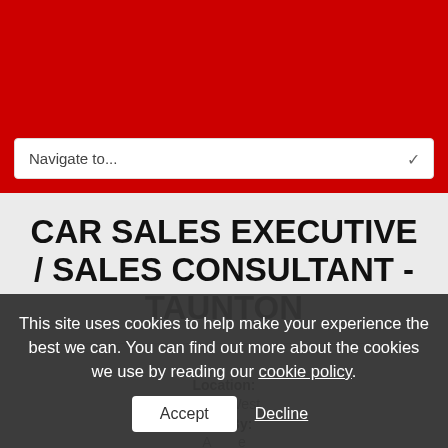Navigate to...
CAR SALES EXECUTIVE / SALES CONSULTANT - TAUNTON
Location:
South West
Date By:
This site uses cookies to help make your experience the best we can. You can find out more about the cookies we use by reading our cookie policy.
Accept
Decline